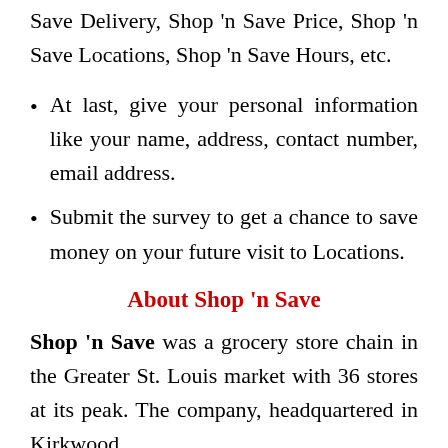Save Delivery, Shop 'n Save Price, Shop 'n Save Locations, Shop 'n Save Hours, etc.
At last, give your personal information like your name, address, contact number, email address.
Submit the survey to get a chance to save money on your future visit to Locations.
About Shop 'n Save
Shop 'n Save was a grocery store chain in the Greater St. Louis market with 36 stores at its peak. The company, headquartered in Kirkwood, Missouri was a wholly-